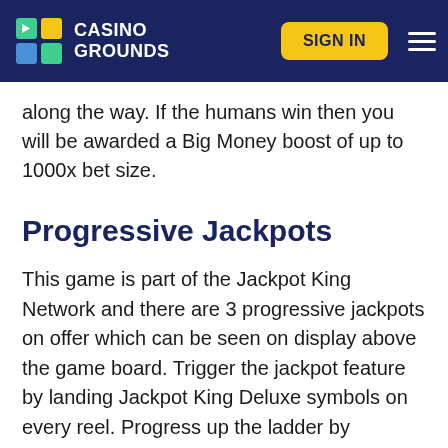CASINO GROUNDS | SIGN IN
along the way. If the humans win then you will be awarded a Big Money boost of up to 1000x bet size.
Progressive Jackpots
This game is part of the Jackpot King Network and there are 3 progressive jackpots on offer which can be seen on display above the game board. Trigger the jackpot feature by landing Jackpot King Deluxe symbols on every reel. Progress up the ladder by accumulating crowns on subsequent spins where 15 or more crowns will send you on to the Wheel King round where you will play for one of the 3 Jack…